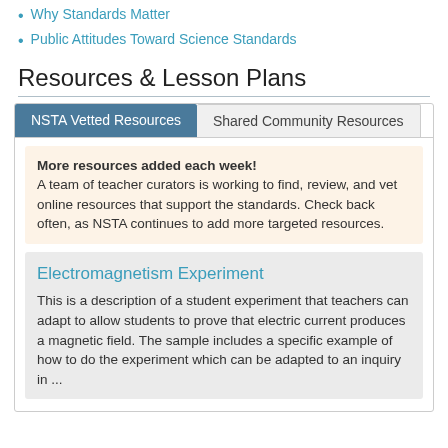Why Standards Matter
Public Attitudes Toward Science Standards
Resources & Lesson Plans
NSTA Vetted Resources | Shared Community Resources
More resources added each week! A team of teacher curators is working to find, review, and vet online resources that support the standards. Check back often, as NSTA continues to add more targeted resources.
Electromagnetism Experiment
This is a description of a student experiment that teachers can adapt to allow students to prove that electric current produces a magnetic field. The sample includes a specific example of how to do the experiment which can be adapted to an inquiry in ...